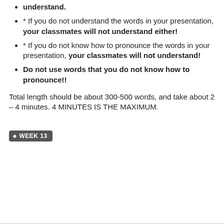understand.
* If you do not understand the words in your presentation, your classmates will not understand either!
* If you do not know how to pronounce the words in your presentation, your classmates will not understand!
Do not use words that you do not know how to pronounce!!
Total length should be about 300-500 words, and take about 2 – 4 minutes. 4 MINUTES IS THE MAXIMUM.
WEEK 13